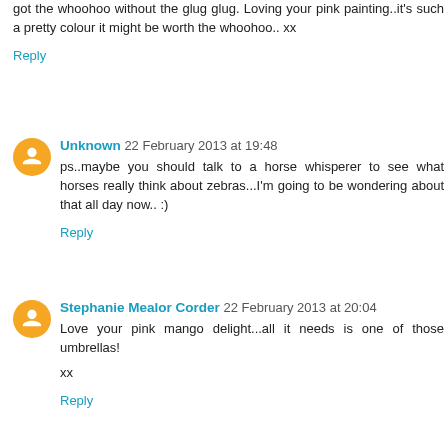got the whoohoo without the glug glug. Loving your pink painting..it's such a pretty colour it might be worth the whoohoo.. xx
Reply
Unknown 22 February 2013 at 19:48
ps..maybe you should talk to a horse whisperer to see what horses really think about zebras...I'm going to be wondering about that all day now.. :)
Reply
Stephanie Mealor Corder 22 February 2013 at 20:04
Love your pink mango delight...all it needs is one of those umbrellas!
xx
Reply